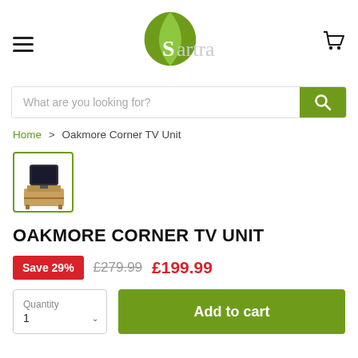[Figure (logo): Sartra brand logo with green leaf shape and stylized text]
What are you looking for?
Home > Oakmore Corner TV Unit
[Figure (photo): Thumbnail image of Oakmore Corner TV Unit - a wooden corner TV stand with a small television on top]
OAKMORE CORNER TV UNIT
Save 29%  £279.99  £199.99
Quantity 1  Add to cart